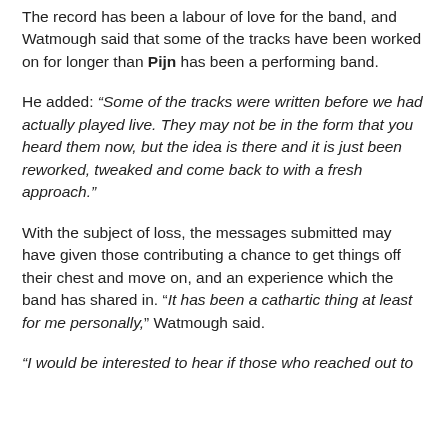The record has been a labour of love for the band, and Watmough said that some of the tracks have been worked on for longer than Pijn has been a performing band.
He added: “Some of the tracks were written before we had actually played live. They may not be in the form that you heard them now, but the idea is there and it is just been reworked, tweaked and come back to with a fresh approach.”
With the subject of loss, the messages submitted may have given those contributing a chance to get things off their chest and move on, and an experience which the band has shared in. “It has been a cathartic thing at least for me personally,” Watmough said.
“I would be interested to hear if those who reached out to